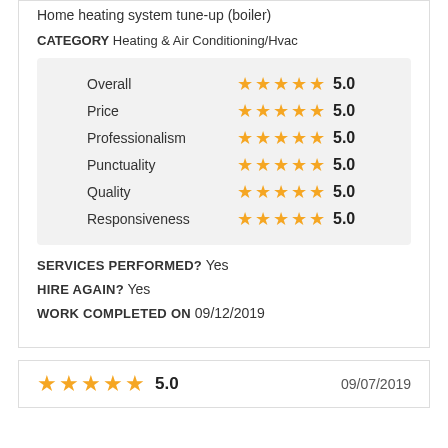Home heating system tune-up (boiler)
CATEGORY Heating & Air Conditioning/Hvac
| Category | Stars | Score |
| --- | --- | --- |
| Overall | ★★★★★ | 5.0 |
| Price | ★★★★★ | 5.0 |
| Professionalism | ★★★★★ | 5.0 |
| Punctuality | ★★★★★ | 5.0 |
| Quality | ★★★★★ | 5.0 |
| Responsiveness | ★★★★★ | 5.0 |
SERVICES PERFORMED? Yes
HIRE AGAIN? Yes
WORK COMPLETED ON 09/12/2019
★★★★★ 5.0   09/07/2019